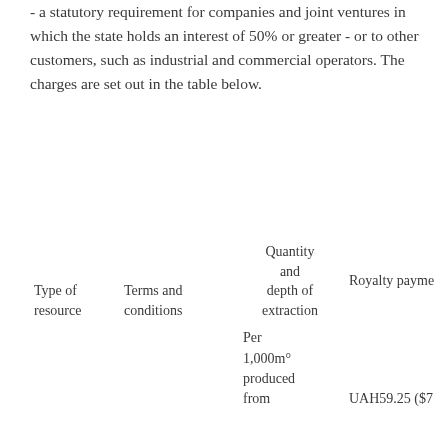- a statutory requirement for companies and joint ventures in which the state holds an interest of 50% or greater - or to other customers, such as industrial and commercial operators. The charges are set out in the table below.
| Type of resource | Terms and conditions | Quantity and depth of extraction | Royalty payment |
| --- | --- | --- | --- |
|  |  | Per 1,000m° produced from | UAH59.25 ($7 |